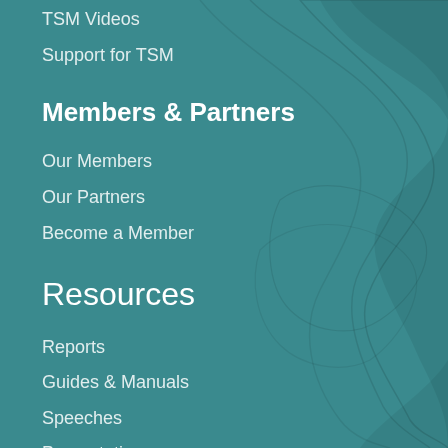TSM Videos
Support for TSM
Members & Partners
Our Members
Our Partners
Become a Member
Resources
Reports
Guides & Manuals
Speeches
Presentations
Press Releases
Newsletters
Mission Events